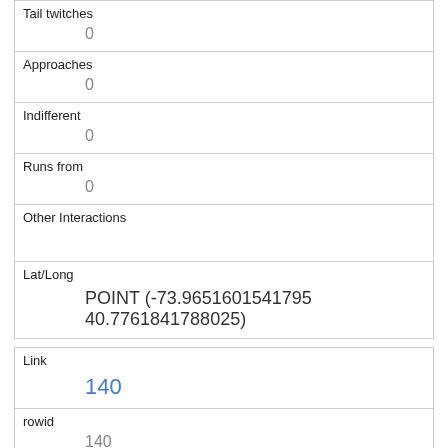| Tail twitches | 0 |
| Approaches | 0 |
| Indifferent | 0 |
| Runs from | 0 |
| Other Interactions |  |
| Lat/Long | POINT (-73.9651601541795 40.7761841788025) |
| Link | 140 |
| rowid | 140 |
| longitude | -73.97686527856641 |
| latitude | 40.768483816820705 |